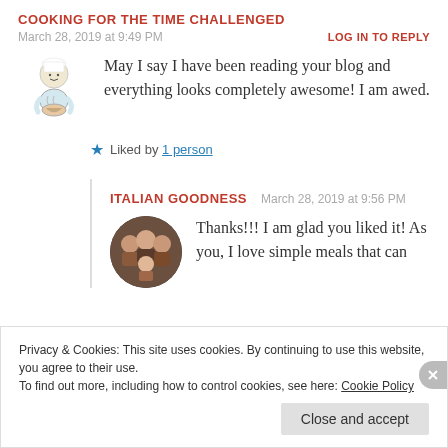COOKING FOR THE TIME CHALLENGED
March 28, 2019 at 9:49 PM
LOG IN TO REPLY
May I say I have been reading your blog and everything looks completely awesome! I am awed.
Liked by 1 person
ITALIAN GOODNESS
March 28, 2019 at 9:56 PM
Thanks!!! I am glad you liked it! As you, I love simple meals that can
Privacy & Cookies: This site uses cookies. By continuing to use this website, you agree to their use.
To find out more, including how to control cookies, see here: Cookie Policy
Close and accept